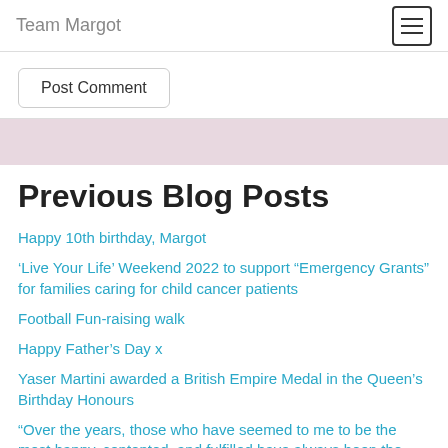Team Margot
Post Comment
Previous Blog Posts
Happy 10th birthday, Margot
‘Live Your Life’ Weekend 2022 to support “Emergency Grants” for families caring for child cancer patients
Football Fun-raising walk
Happy Father’s Day x
Yaser Martini awarded a British Empire Medal in the Queen’s Birthday Honours
“Over the years, those who have seemed to me to be the most happy, contented, and fulfilled have always been the people who have lived the most outgoing and unselfish